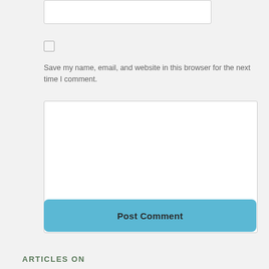[Figure (screenshot): A text input field (top, partially cropped) on a light grey form background]
[Figure (screenshot): A checkbox (unchecked) on a light grey background]
Save my name, email, and website in this browser for the next time I comment.
[Figure (screenshot): A large empty textarea/comment input box with resize handle]
[Figure (screenshot): A blue 'Post Comment' button]
[Figure (screenshot): A yellow horizontal divider line with a dark teal chat bubble icon on the right]
ARTICLES ON